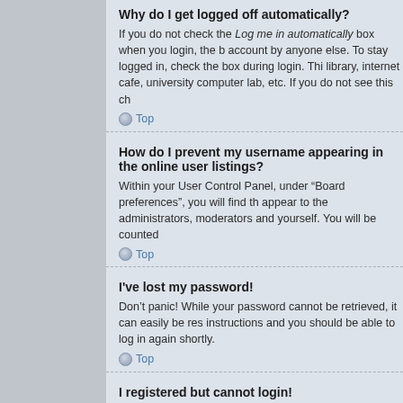Why do I get logged off automatically?
If you do not check the Log me in automatically box when you login, the b account by anyone else. To stay logged in, check the box during login. Thi library, internet cafe, university computer lab, etc. If you do not see this ch
Top
How do I prevent my username appearing in the online user listings?
Within your User Control Panel, under “Board preferences”, you will find th appear to the administrators, moderators and yourself. You will be counted
Top
I've lost my password!
Don’t panic! While your password cannot be retrieved, it can easily be res instructions and you should be able to log in again shortly.
Top
I registered but cannot login!
First, check your username and password. If they are correct, then one of being under 13 years old during registration, you will have to follow the ins activated, either by yourself or by an administrator before you can logon; t the instructions. If you did not receive an e-mail, you may have provided a If you are sure the e-mail address you provided is correct, try contacting a
Top
I registered in the past but cannot login any more?!